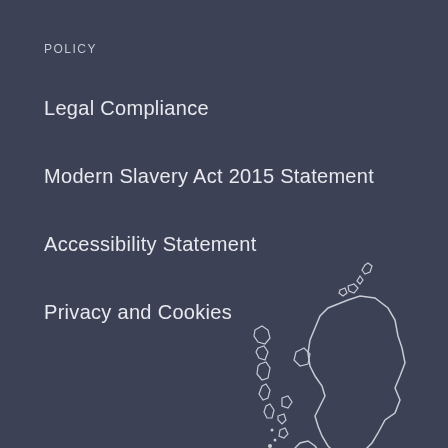POLICY
Legal Compliance
Modern Slavery Act 2015 Statement
Accessibility Statement
Privacy and Cookies
[Figure (map): Outline map of Scotland including the Western Isles and Northern Isles, rendered as a white line drawing on a dark background]